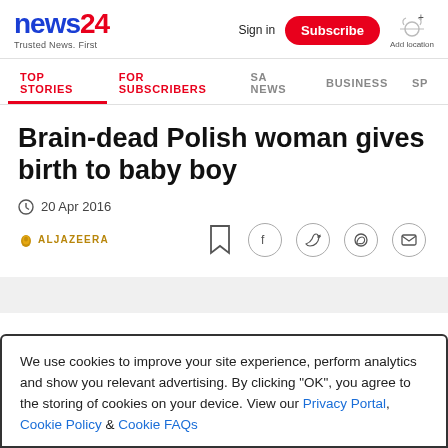news24 - Trusted News. First
Sign in | Subscribe | Add location
TOP STORIES | FOR SUBSCRIBERS | SA NEWS | BUSINESS | SP
Brain-dead Polish woman gives birth to baby boy
20 Apr 2016
ALJAZEERA
We use cookies to improve your site experience, perform analytics and show you relevant advertising. By clicking "OK", you agree to the storing of cookies on your device. View our Privacy Portal, Cookie Policy & Cookie FAQs